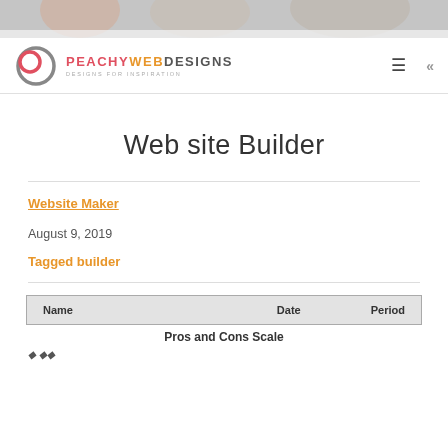[Figure (photo): Top banner photo strip showing people working, partially cropped]
PEACHY WEB DESIGNS — DESIGNS FOR INSPIRATION
Web site Builder
Website Maker
August 9, 2019
Tagged builder
| Name | Date | Period |
| --- | --- | --- |
Pros and Cons Scale